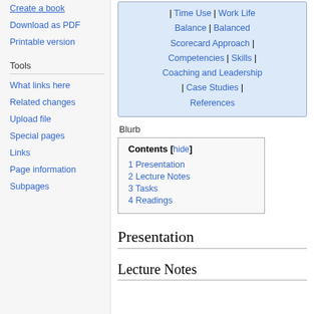Create a book
Download as PDF
Printable version
Tools
What links here
Related changes
Upload file
Special pages
Links
Page information
Subpages
| | Time Use | Work Life Balance | Balanced Scorecard Approach | Competencies | Skills | Coaching and Leadership | Case Studies | References |
Blurb
| Contents [hide] |
| --- |
| 1 Presentation |
| 2 Lecture Notes |
| 3 Tasks |
| 4 Readings |
Presentation
Lecture Notes